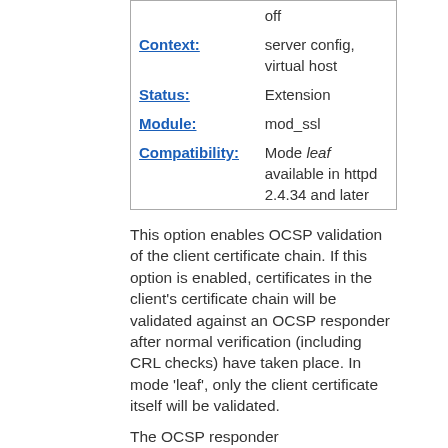|  | off |
| Context: | server config, virtual host |
| Status: | Extension |
| Module: | mod_ssl |
| Compatibility: | Mode leaf available in httpd 2.4.34 and later |
This option enables OCSP validation of the client certificate chain. If this option is enabled, certificates in the client's certificate chain will be validated against an OCSP responder after normal verification (including CRL checks) have taken place. In mode 'leaf', only the client certificate itself will be validated.
The OCSP responder